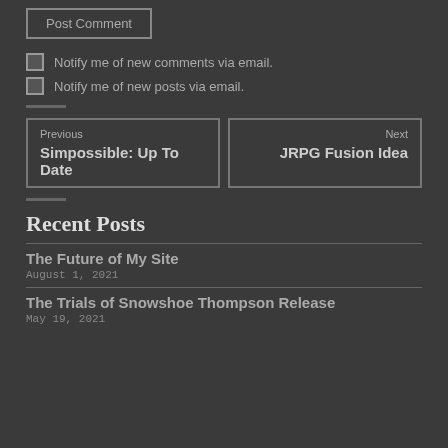Post Comment
Notify me of new comments via email.
Notify me of new posts via email.
Previous
Simpossible: Up To Date
Next
JRPG Fusion Idea
Recent Posts
The Future of My Site
August 1, 2021
The Trials of Snowshoe Thompson Release
May 19, 2021